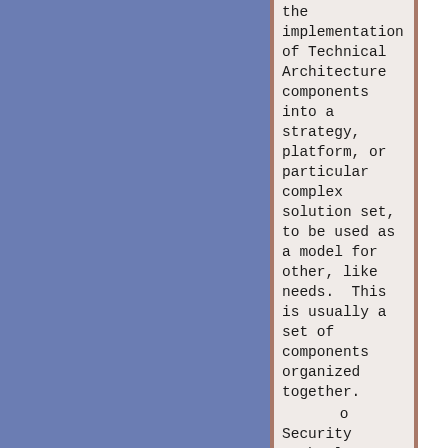the implementation of Technical Architecture components into a strategy, platform, or particular complex solution set, to be used as a model for other, like needs.  This is usually a set of components organized together.
o Security Technology Lifecycle – the process of